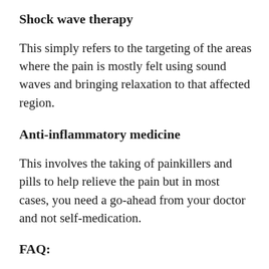Shock wave therapy
This simply refers to the targeting of the areas where the pain is mostly felt using sound waves and bringing relaxation to that affected region.
Anti-inflammatory medicine
This involves the taking of painkillers and pills to help relieve the pain but in most cases, you need a go-ahead from your doctor and not self-medication.
FAQ: